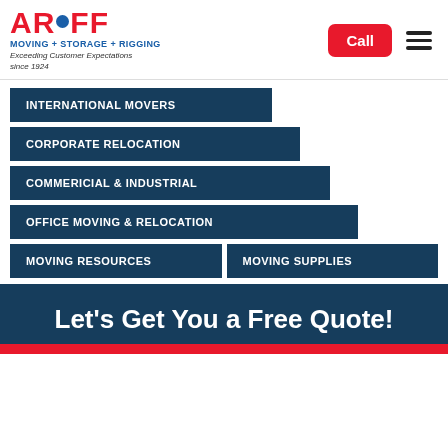[Figure (logo): Arnoff Moving + Storage + Rigging company logo with red text, blue dot, and tagline 'Exceeding Customer Expectations since 1924']
INTERNATIONAL MOVERS
CORPORATE RELOCATION
COMMERICIAL & INDUSTRIAL
OFFICE MOVING & RELOCATION
MOVING RESOURCES
MOVING SUPPLIES
Let's Get You a Free Quote!